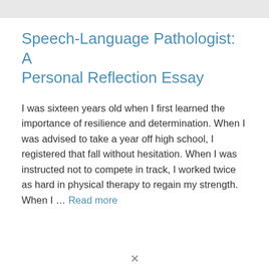Speech-Language Pathologist: A Personal Reflection Essay
I was sixteen years old when I first learned the importance of resilience and determination. When I was advised to take a year off high school, I registered that fall without hesitation. When I was instructed not to compete in track, I worked twice as hard in physical therapy to regain my strength. When I … Read more